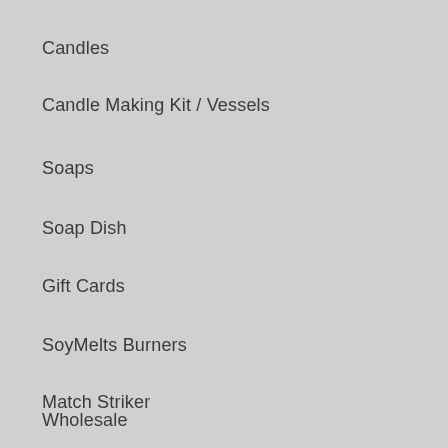Candles
Candle Making Kit / Vessels
Soaps
Soap Dish
Gift Cards
SoyMelts Burners
Match Striker
Wholesale